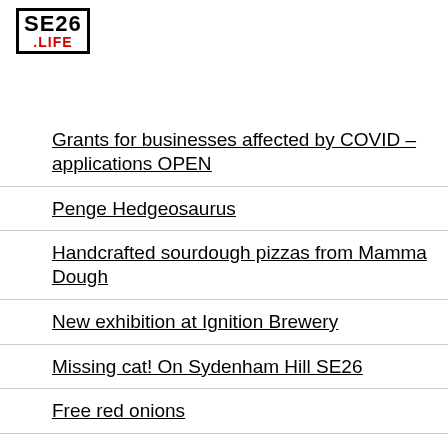SE26 .LIFE
Grants for businesses affected by COVID – applications OPEN
Penge Hedgeosaurus
Handcrafted sourdough pizzas from Mamma Dough
New exhibition at Ignition Brewery
Missing cat! On Sydenham Hill SE26
Free red onions
Culture Recovery funding for Crystal Palace Dinos
SE26.life now powered by 100% renewable energy
ToS & Privacy Policy Update
Lewisham council audit–anyone read fluent